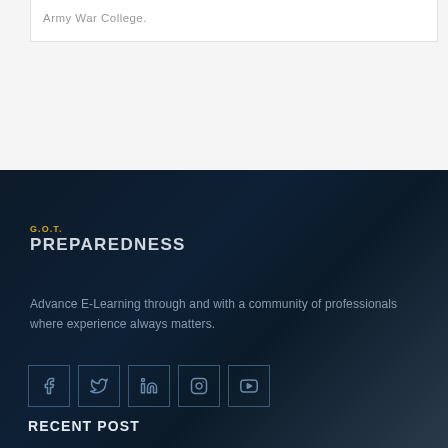Army War College.
[Figure (logo): G.O.T. PREPAREDNESS logo with yellow G.O.T. text above white PREPAREDNESS text]
Advance E-Learning through and with a community of professionals where experience always matters.
[Figure (other): Social media icons: Facebook, Twitter, LinkedIn, Instagram, YouTube — each in a square border]
RECENT POST